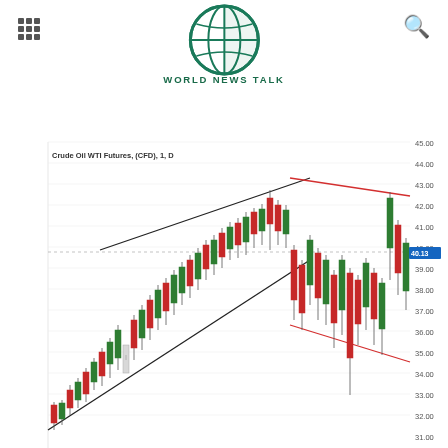World News Talk
[Figure (continuous-plot): Crude Oil WTI Futures (CFD) daily candlestick chart showing price range approximately 31.00 to 45.00, with an ascending channel (black trendlines) and a descending red channel pattern. Current price marked at 40.13 in blue label on right axis. Price axis on right shows values from 31.00 to 45.00.]